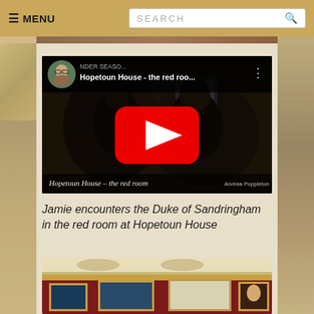≡ MENU   SEARCH 🔍
[Figure (screenshot): YouTube video thumbnail for 'Hopetoun House - the red roo...' showing two people in a dimly lit room, with a circular avatar of a woman with glasses, a three-dot menu icon, and a large red YouTube play button in the center. Bottom text reads 'Hopetoun House – the red room' and 'Andrea Poppleton']
Jamie encounters the Duke of Sandringham in the red room at Hopetoun House
[Figure (photo): Partial view of an ornate room interior at Hopetoun House showing a decorated ceiling, red walls, and gilt-framed paintings]